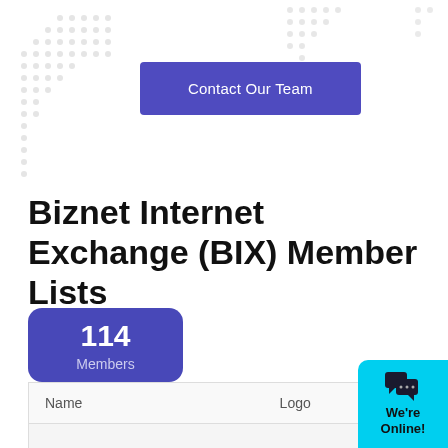[Figure (other): Decorative dot pattern background in light gray scattered across the upper portion of the page]
Contact Our Team
Biznet Internet Exchange (BIX) Member Lists
114
Members
| Name | Logo | ASN | WEB |
| --- | --- | --- | --- |
| No data available in table |
[Figure (other): Cyan chat widget button with speech bubble icon and 'We're Online!' text]